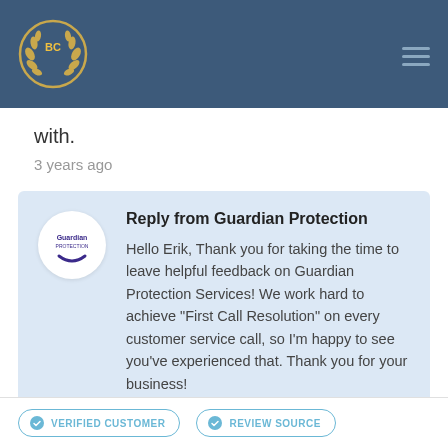BC logo and navigation
with.
3 years ago
Reply from Guardian Protection
Hello Erik, Thank you for taking the time to leave helpful feedback on Guardian Protection Services! We work hard to achieve "First Call Resolution" on every customer service call, so I'm happy to see you've experienced that. Thank you for your business!
Dec. 18th, 2018
VERIFIED CUSTOMER   REVIEW SOURCE